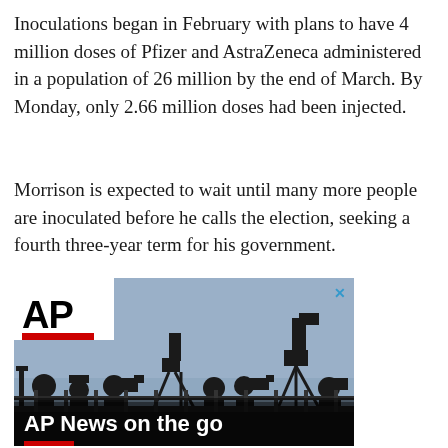Inoculations began in February with plans to have 4 million doses of Pfizer and AstraZeneca administered in a population of 26 million by the end of March. By Monday, only 2.66 million doses had been injected.
Morrison is expected to wait until many more people are inoculated before he calls the election, seeking a fourth three-year term for his government.
[Figure (photo): AP News advertisement showing silhouettes of journalists with cameras and equipment against a blue-grey sky. Features the AP logo (black bold letters with red bar) in the top left corner, a close X in the top right, and text 'AP News on the go' overlaid at the bottom.]